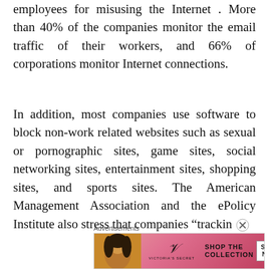employees for misusing the Internet . More than 40% of the companies monitor the email traffic of their workers, and 66% of corporations monitor Internet connections.
In addition, most companies use software to block non-work related websites such as sexual or pornographic sites, game sites, social networking sites, entertainment sites, shopping sites, and sports sites. The American Management Association and the ePolicy Institute also stress that companies “trackin…
[Figure (other): Advertisement banner for Victoria's Secret showing a woman's face, the VS logo, 'SHOP THE COLLECTION' text and a 'SHOP NOW' button on a pink/red gradient background.]